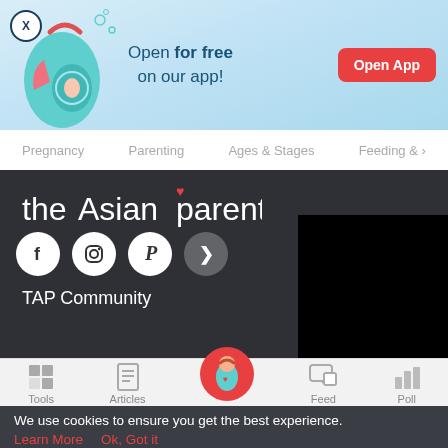[Figure (screenshot): App promotional banner with illustrated pregnant woman, teal/blue background, close button X, text 'Open for free on our app!' and red 'Open App' button]
Pregnancy   Parenting   Ages & Stages   Feeding &
[Figure (logo): theAsianparent logo in white text on dark background with red heart above letter 'i']
[Figure (screenshot): Social media icons: Facebook, Instagram, Pinterest circles plus arrow button and black video panel]
TAP Community
Tools   Articles   [pregnant woman icon]   Feed   Poll
We use cookies to ensure you get the best experience.
Learn More   Ok, Got it